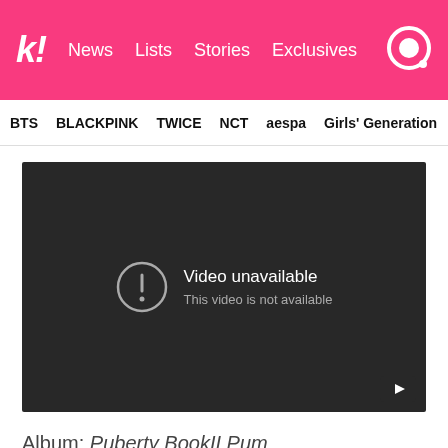k! News Lists Stories Exclusives
BTS  BLACKPINK  TWICE  NCT  aespa  Girls' Generation
[Figure (screenshot): Embedded YouTube video player showing 'Video unavailable - This video is not available' error message on dark background]
Album: Puberty Book II Pum